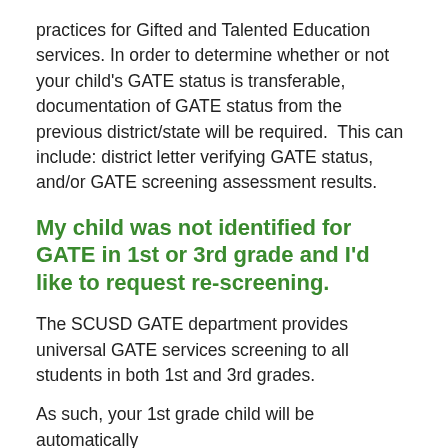practices for Gifted and Talented Education services. In order to determine whether or not your child's GATE status is transferable, documentation of GATE status from the previous district/state will be required.  This can include: district letter verifying GATE status, and/or GATE screening assessment results.
My child was not identified for GATE in 1st or 3rd grade and I'd like to request re-screening.
The SCUSD GATE department provides universal GATE services screening to all students in both 1st and 3rd grades.
As such, your 1st grade child will be automatically